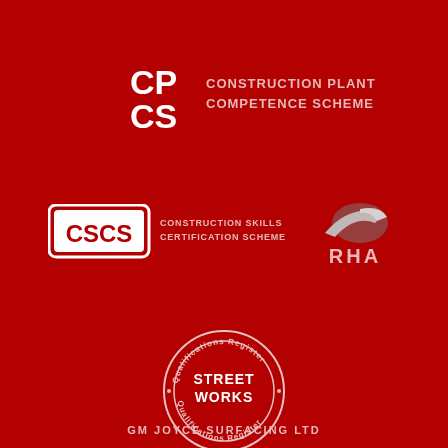[Figure (logo): CPCS Construction Plant Competence Scheme logo in white on red background]
[Figure (logo): CSCS Construction Skills Certification Scheme logo with white box border on red background]
[Figure (logo): RHA logo with arrow swoosh graphic in grey/white on red background]
[Figure (logo): Street Works Qualifications Register circular stamp logo in white outline on red]
GM JOYCE SURFACING LTD